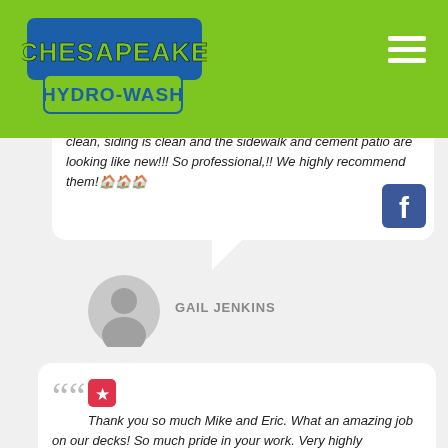[Figure (logo): Chesapeake Hydro-Wash logo in blue and green on green header bar]
...clean, siding is clean and the sidewalk and cement patio are looking like new!!! So professional,!! We highly recommend them!🏠🏠🏠
GAIL JENKINS
Thank you so much Mike and Eric. What an amazing job on our decks! So much pride in your work. Very highly recommend 👍
BARBARA CUMMINGS